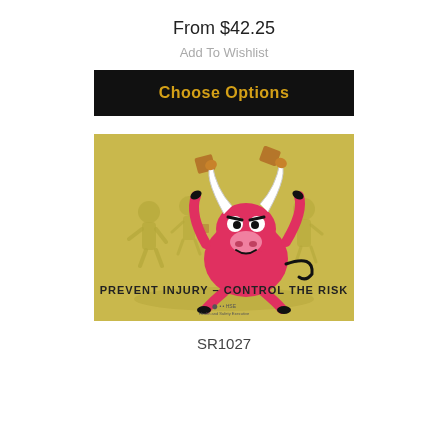From $42.25
Add To Wishlist
Choose Options
[Figure (illustration): A cartoon red bull with white horns juggling brown objects, standing on a golden/olive background with silhouettes of people. Text at bottom reads 'PREVENT INJURY - CONTROL THE RISK']
SR1027